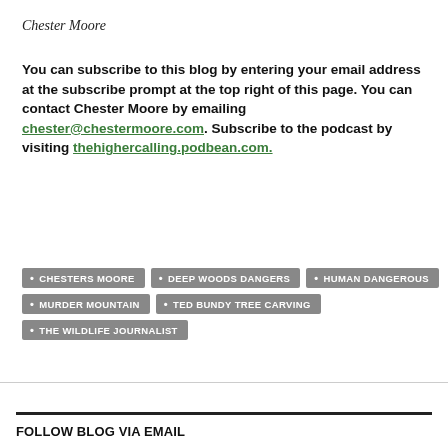Chester Moore
You can subscribe to this blog by entering your email address at the subscribe prompt at the top right of this page. You can contact Chester Moore by emailing chester@chestermoore.com. Subscribe to the podcast by visiting thehighercalling.podbean.com.
CHESTERS MOORE
DEEP WOODS DANGERS
HUMAN DANGEROUS
MURDER MOUNTAIN
TED BUNDY TREE CARVING
THE WILDLIFE JOURNALIST
FOLLOW BLOG VIA EMAIL